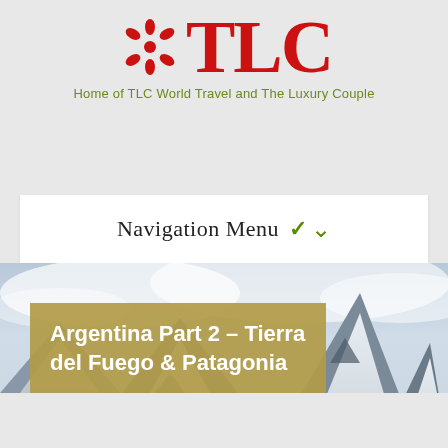[Figure (logo): TLC logo with red asterisk/snowflake symbol and 'TLC' in red bold serif text, subtitle 'Home of TLC World Travel and The Luxury Couple' in olive green]
Navigation Menu ∨
[Figure (photo): Snow-capped mountain peaks in Patagonia with glaciers and dramatic cloudy sky]
Argentina Part 2 – Tierra del Fuego & Patagonia